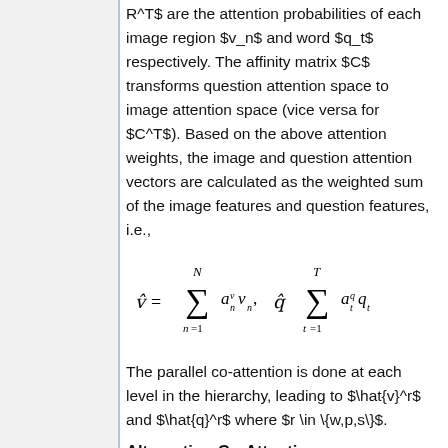R^T$ are the attention probabilities of each image region $v_n$ and word $q_t$ respectively. The affinity matrix $C$ transforms question attention space to image attention space (vice versa for $C^T$). Based on the above attention weights, the image and question attention vectors are calculated as the weighted sum of the image features and question features, i.e.,
The parallel co-attention is done at each level in the hierarchy, leading to $\hat{v}^r$ and $\hat{q}^r$ where $r \in \{w,p,s\}$.
Alternating Co-Attention